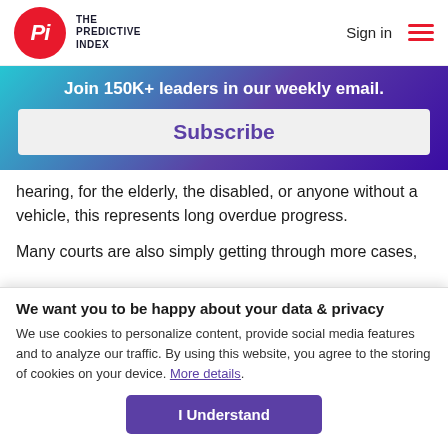THE PREDICTIVE INDEX | Sign in
Join 150K+ leaders in our weekly email.
Subscribe
hearing, for the elderly, the disabled, or anyone without a vehicle, this represents long overdue progress.
Many courts are also simply getting through more cases.
We want you to be happy about your data & privacy
We use cookies to personalize content, provide social media features and to analyze our traffic. By using this website, you agree to the storing of cookies on your device. More details.
I Understand